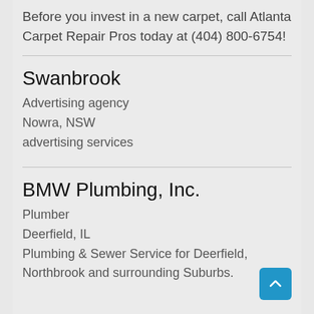Before you invest in a new carpet, call Atlanta Carpet Repair Pros today at (404) 800-6754!
Swanbrook
Advertising agency
Nowra, NSW
advertising services
BMW Plumbing, Inc.
Plumber
Deerfield, IL
Plumbing & Sewer Service for Deerfield, Northbrook and surrounding Suburbs.